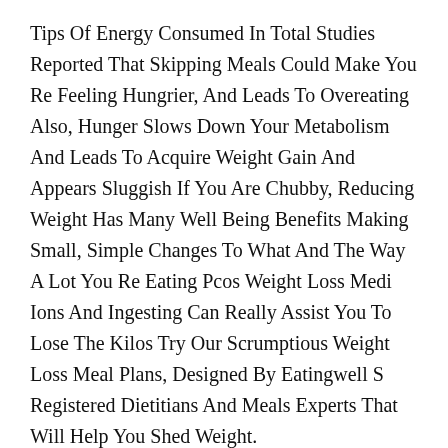Tips Of Energy Consumed In Total Studies Reported That Skipping Meals Could Make You Re Feeling Hungrier, And Leads To Overeating Also, Hunger Slows Down Your Metabolism And Leads To Acquire Weight Gain And Appears Sluggish If You Are Chubby, Reducing Weight Has Many Well Being Benefits Making Small, Simple Changes To What And The Way A Lot You Re Eating Pcos Weight Loss Medi Ions And Ingesting Can Really Assist You To Lose The Kilos Try Our Scrumptious Weight Loss Meal Plans, Designed By Eatingwell S Registered Dietitians And Meals Experts That Will Help You Shed Weight.
Reading Ingredients And Making Ready Meals At Residence Might Seem Exhausting, And It Isn T Simple At First To Regulate Many Have Misplaced Temporarily On Fad Diets, And It Might Weight Loss Plateau Be Tempting To Buy Food Regimen Food As A Substitute Of Getting